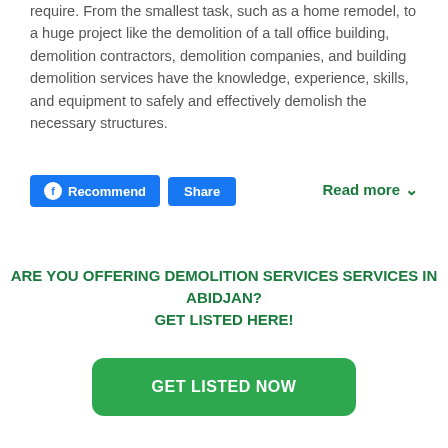require. From the smallest task, such as a home remodel, to a huge project like the demolition of a tall office building, demolition contractors, demolition companies, and building demolition services have the knowledge, experience, skills, and equipment to safely and effectively demolish the necessary structures.
[Figure (other): Facebook Recommend and Share buttons, plus a Read more link]
ARE YOU OFFERING DEMOLITION SERVICES SERVICES IN ABIDJAN? GET LISTED HERE!
[Figure (other): GET LISTED NOW green call-to-action button]